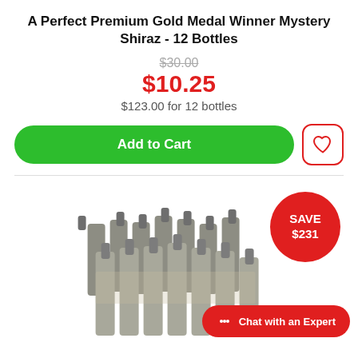A Perfect Premium Gold Medal Winner Mystery Shiraz - 12 Bottles
$30.00 (strikethrough original price)
$10.25 (sale price)
$123.00 for 12 bottles
Add to Cart (button)
[Figure (other): 12 wine bottles arranged in a group, wrapped in dark decorative packaging, with a red circular badge saying SAVE $231 in the upper right]
Chat with an Expert (chat button)